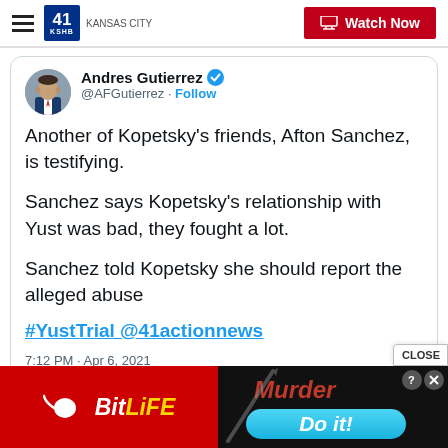41 KSHB KANSAS CITY | Watch Now
Andres Gutierrez @AFGutierrez · Follow
Another of Kopetsky's friends, Afton Sanchez, is testifying.

Sanchez says Kopetsky's relationship with Yust was bad, they fought a lot.

Sanchez told Kopetsky she should report the alleged abuse

#YustTrial @41actionnews

7:12 PM · Apr 6, 2021
[Figure (screenshot): BitLife advertisement banner with red background on left showing BitLife logo, and dark background on right showing 'Murder' text in red and 'Do it!' button in blue]